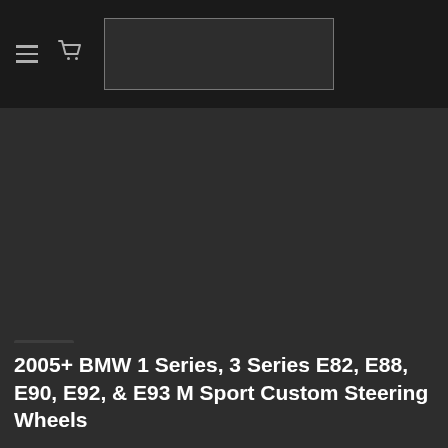[Figure (photo): Dark background product page screenshot showing a navigation header with hamburger menu, cart icon, and search box on a black bar. The main content area is a dark gray background with a product title at the bottom.]
2005+ BMW 1 Series, 3 Series E82, E88, E90, E92, & E93 M Sport Custom Steering Wheels